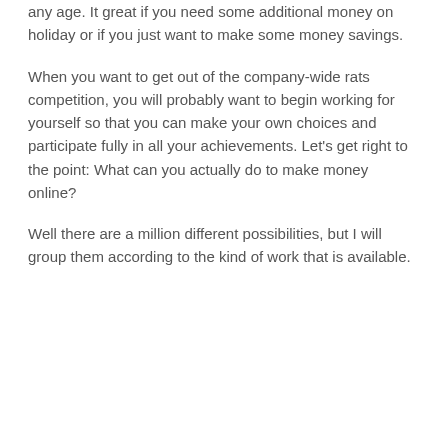any age. It great if you need some additional money on holiday or if you just want to make some money savings.
When you want to get out of the company-wide rats competition, you will probably want to begin working for yourself so that you can make your own choices and participate fully in all your achievements. Let's get right to the point: What can you actually do to make money online?
Well there are a million different possibilities, but I will group them according to the kind of work that is available.